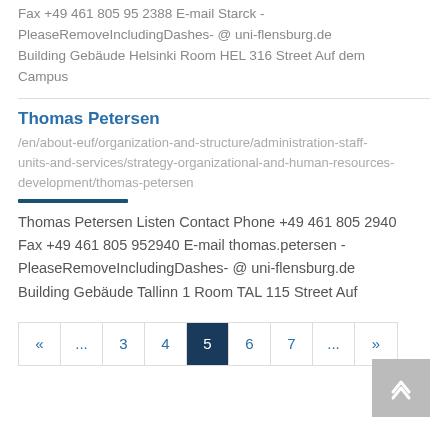Fax +49 461 805 95 2388 E-mail Starck - PleaseRemoveIncludingDashes- @ uni-flensburg.de Building Gebäude Helsinki Room HEL 316 Street Auf dem Campus
Thomas Petersen
/en/about-euf/organization-and-structure/administration-staff-units-and-services/strategy-organizational-and-human-resources-development/thomas-petersen
Thomas Petersen Listen Contact Phone +49 461 805 2940 Fax +49 461 805 952940 E-mail thomas.petersen - PleaseRemoveIncludingDashes- @ uni-flensburg.de Building Gebäude Tallinn 1 Room TAL 115 Street Auf